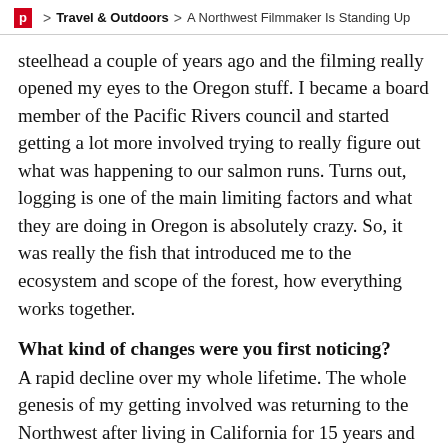P > Travel & Outdoors > A Northwest Filmmaker Is Standing Up
steelhead a couple of years ago and the filming really opened my eyes to the Oregon stuff. I became a board member of the Pacific Rivers council and started getting a lot more involved trying to really figure out what was happening to our salmon runs. Turns out, logging is one of the main limiting factors and what they are doing in Oregon is absolutely crazy. So, it was really the fish that introduced me to the ecosystem and scope of the forest, how everything works together.
What kind of changes were you first noticing?
A rapid decline over my whole lifetime. The whole genesis of my getting involved was returning to the Northwest after living in California for 15 years and realizing the fish runs were way worse than I had remembered as a kid. Naturally I wanted to find out why.
Where did you begin with Behind the Emerald Curtain?